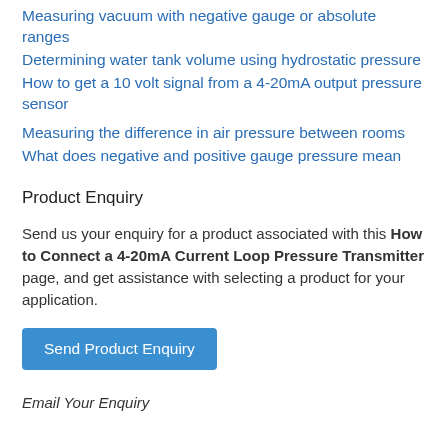Measuring vacuum with negative gauge or absolute ranges
Determining water tank volume using hydrostatic pressure
How to get a 10 volt signal from a 4-20mA output pressure sensor
Measuring the difference in air pressure between rooms
What does negative and positive gauge pressure mean
Product Enquiry
Send us your enquiry for a product associated with this How to Connect a 4-20mA Current Loop Pressure Transmitter page, and get assistance with selecting a product for your application.
Send Product Enquiry
Email Your Enquiry